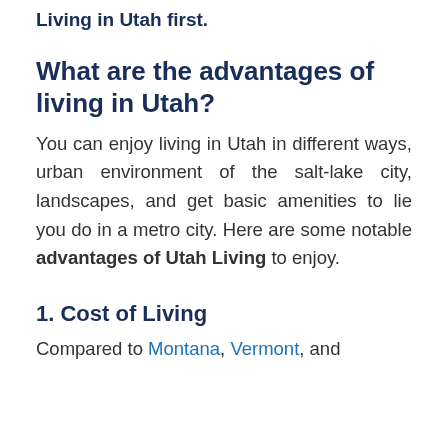Living in Utah first.
What are the advantages of living in Utah?
You can enjoy living in Utah in different ways, urban environment of the salt-lake city, landscapes, and get basic amenities to lie you do in a metro city. Here are some notable advantages of Utah Living to enjoy.
1. Cost of Living
Compared to Montana, Vermont, and